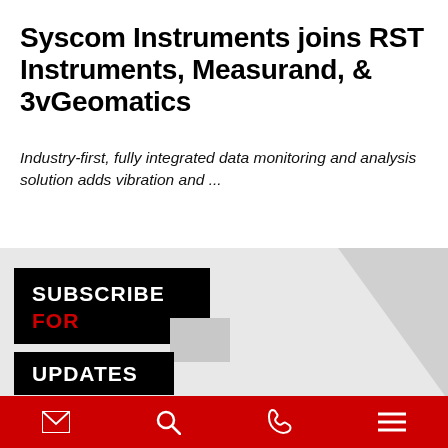Syscom Instruments joins RST Instruments, Measurand, & 3vGeomatics
Industry-first, fully integrated data monitoring and analysis solution adds vibration and ...
[Figure (infographic): Subscribe for updates promotional banner with black background, red 'FOR' text, and white 'SUBSCRIBE' and 'UPDATES' text on a gray section background]
Navigation bar with email, search, phone, and menu icons on red background